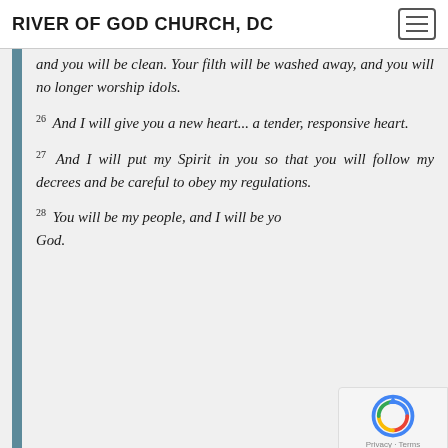RIVER OF GOD CHURCH, DC
and you will be clean. Your filth will be washed away, and you will no longer worship idols.
26 And I will give you a new heart... a tender, responsive heart.
27 And I will put my Spirit in you so that you will follow my decrees and be careful to obey my regulations.
28 You will be my people, and I will be you God.